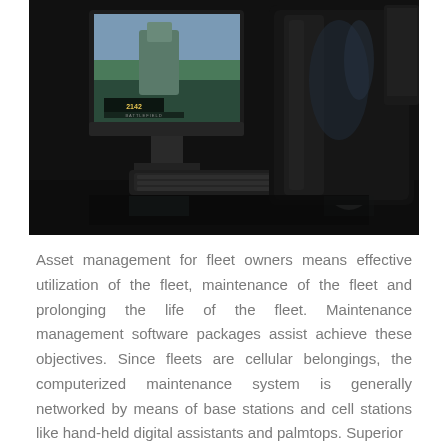[Figure (photo): A dark, dramatic photo of a gaming computer setup featuring a monitor displaying Battlefield 2142, a sleek black futuristic computer tower, a keyboard, and a mouse on a reflective dark surface.]
Asset management for fleet owners means effective utilization of the fleet, maintenance of the fleet and prolonging the life of the fleet. Maintenance management software packages assist achieve these objectives. Since fleets are cellular belongings, the computerized maintenance system is generally networked by means of base stations and cell stations like hand-held digital assistants and palmtops. Superior